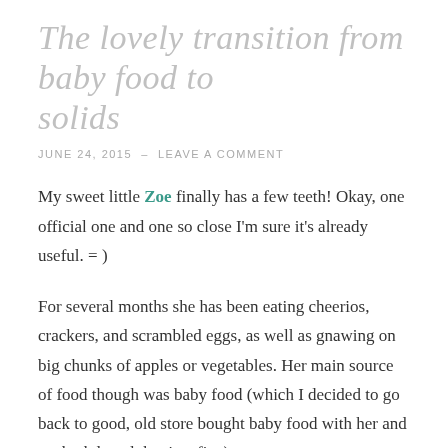The lovely transition from baby food to solids
JUNE 24, 2015  –  LEAVE A COMMENT
My sweet little Zoe finally has a few teeth! Okay, one official one and one so close I'm sure it's already useful. = )
For several months she has been eating cheerios, crackers, and scrambled eggs, as well as gnawing on big chunks of apples or vegetables. Her main source of food though was baby food (which I decided to go back to good, old store bought baby food with her and we both loved that just fine).
Now we're working on that lovely transition where solids will become her main source of nutrition.